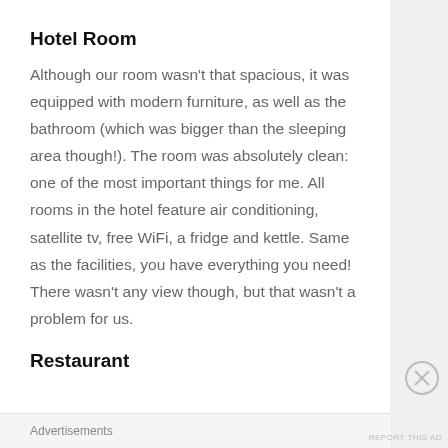Hotel Room
Although our room wasn't that spacious, it was equipped with modern furniture, as well as the bathroom (which was bigger than the sleeping area though!). The room was absolutely clean: one of the most important things for me. All rooms in the hotel feature air conditioning, satellite tv, free WiFi, a fridge and kettle. Same as the facilities, you have everything you need! There wasn't any view though, but that wasn't a problem for us.
Restaurant
Advertisements